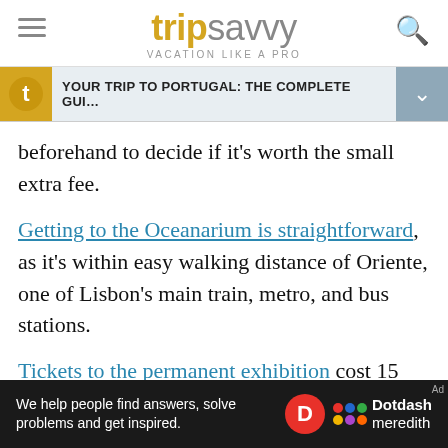tripsavvy VACATION LIKE A PRO
YOUR TRIP TO PORTUGAL: THE COMPLETE GUI...
beforehand to decide if it’s worth the small extra fee.
Getting to the Oceanarium is straightforward, as it’s within easy walking distance of Oriente, one of Lisbon’s main train, metro, and bus stations.
Tickets to the permanent exhibition cost 15 euros for adults, 10 euros for children aged 4-12, and free for those three and under. A family ticket for two adults and two children costs 39 euros. You’ll want to arrive early...
[Figure (logo): Dotdash Meredith advertisement banner — We help people find answers, solve problems and get inspired.]